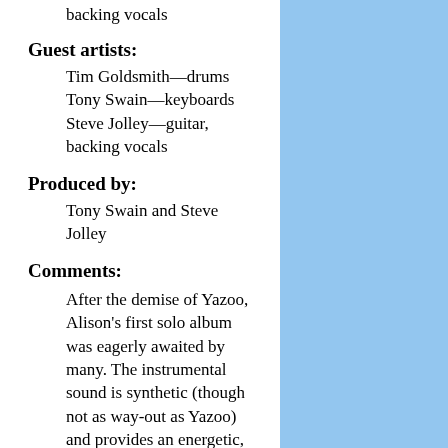backing vocals
Guest artists:
Tim Goldsmith—drums
Tony Swain—keyboards
Steve Jolley—guitar, backing vocals
Produced by:
Tony Swain and Steve Jolley
Comments:
After the demise of Yazoo, Alison's first solo album was eagerly awaited by many. The instrumental sound is synthetic (though not as way-out as Yazoo) and provides an energetic, often danceable, setting for Alison's voice (which is much to the fore